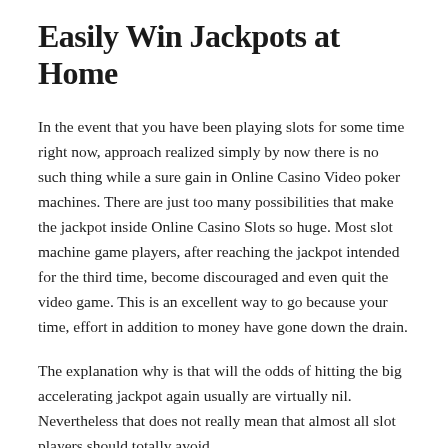Easily Win Jackpots at Home
In the event that you have been playing slots for some time right now, approach realized simply by now there is no such thing while a sure gain in Online Casino Video poker machines. There are just too many possibilities that make the jackpot inside Online Casino Slots so huge. Most slot machine game players, after reaching the jackpot intended for the third time, become discouraged and even quit the video game. This is an excellent way to go because your time, effort in addition to money have gone down the drain.
The explanation why is that will the odds of hitting the big accelerating jackpot again usually are virtually nil. Nevertheless that does not really mean that almost all slot players should totally avoid